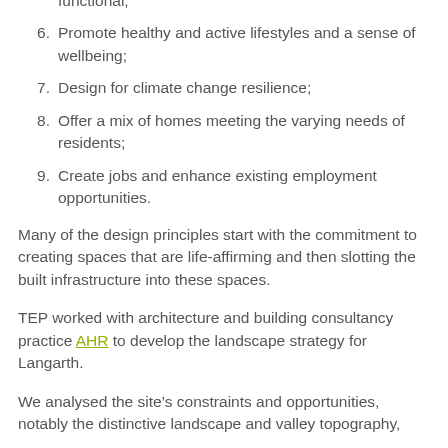functional;
Promote healthy and active lifestyles and a sense of wellbeing;
Design for climate change resilience;
Offer a mix of homes meeting the varying needs of residents;
Create jobs and enhance existing employment opportunities.
Many of the design principles start with the commitment to creating spaces that are life-affirming and then slotting the built infrastructure into these spaces.
TEP worked with architecture and building consultancy practice AHR to develop the landscape strategy for Langarth.
We analysed the site’s constraints and opportunities, notably the distinctive landscape and valley topography,